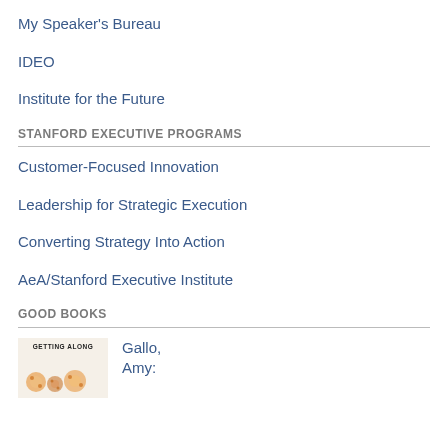My Speaker's Bureau
IDEO
Institute for the Future
STANFORD EXECUTIVE PROGRAMS
Customer-Focused Innovation
Leadership for Strategic Execution
Converting Strategy Into Action
AeA/Stanford Executive Institute
GOOD BOOKS
[Figure (illustration): Book cover for 'Getting Along' with illustrated icons]
Gallo, Amy: